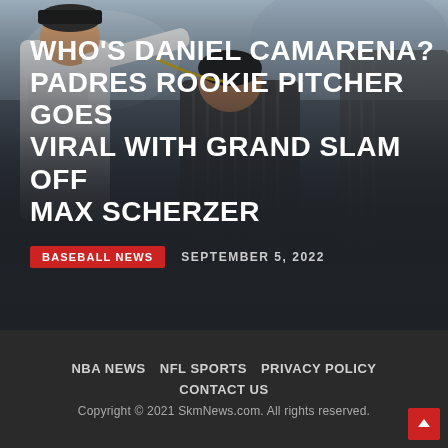[Figure (photo): Two San Diego Padres baseball players, one placing a gold chain necklace on the other after a game moment. Players wearing Padres uniforms.]
WHO'S DANIEL CAMARENA? PADRES ROOKIE PITCHER GOES VIRAL WITH GRAND SLAM OFF MAX SCHERZER
BASEBALL NEWS   SEPTEMBER 5, 2022
NBA NEWS   NFL SPORTS   PRIVACY POLICY   CONTACT US
Copyright © 2021 SkmNews.com. All rights reserved.